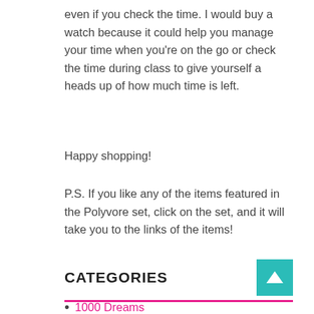even if you check the time. I would buy a watch because it could help you manage your time when you're on the go or check the time during class to give yourself a heads up of how much time is left.
Happy shopping!
P.S. If you like any of the items featured in the Polyvore set, click on the set, and it will take you to the links of the items!
CATEGORIES
1000 Dreams